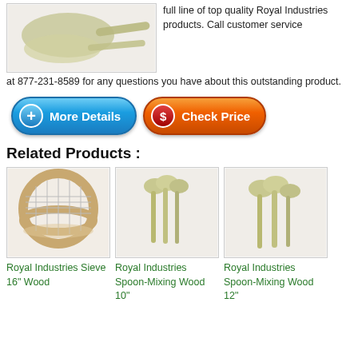[Figure (photo): Photo of wooden paddle/spatula product by Royal Industries on white background]
full line of top quality Royal Industries products. Call customer service at 877-231-8589 for any questions you have about this outstanding product.
[Figure (other): Blue button with + icon labeled 'More Details']
[Figure (other): Orange button with $ icon labeled 'Check Price']
Related Products :
[Figure (photo): Photo of Royal Industries Sieve 16 inch Wood]
Royal Industries Sieve 16" Wood
[Figure (photo): Photo of Royal Industries Spoon-Mixing Wood 10 inch]
Royal Industries Spoon-Mixing Wood 10"
[Figure (photo): Photo of Royal Industries Spoon-Mixing Wood 12 inch]
Royal Industries Spoon-Mixing Wood 12"